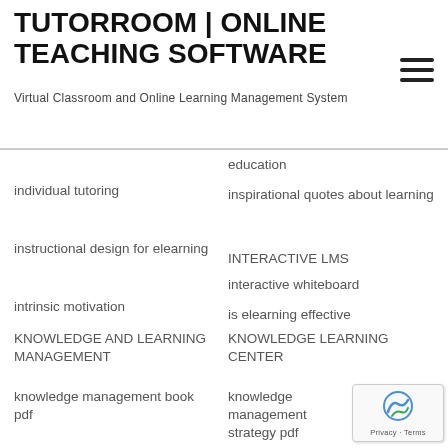TUTORROOM | ONLINE TEACHING SOFTWARE
Virtual Classroom and Online Learning Management System
education
individual tutoring
inspirational quotes about learning
instructional design for elearning
INTERACTIVE LMS
interactive whiteboard
intrinsic motivation
is elearning effective
KNOWLEDGE AND LEARNING MANAGEMENT
KNOWLEDGE LEARNING CENTER
knowledge management book pdf
knowledge management strategy pdf
language learning app
LANGUAGE LEARNING